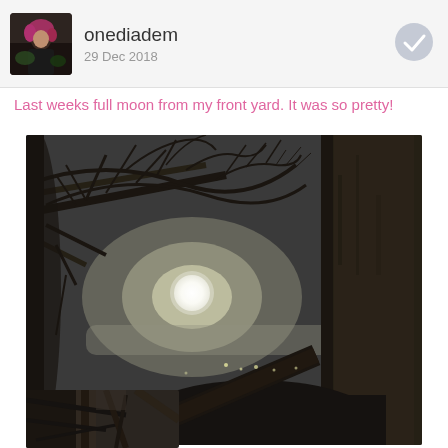onediadem
29 Dec 2018
Last weeks full moon from my front yard. It was so pretty!
[Figure (photo): Black and white night photo of a full moon visible through bare tree branches, with a large tree trunk on the right side. City lights visible in the background below the moon.]
[Figure (photo): Partial thumbnail of a black and white photo showing tree branches, bottom portion of the page.]